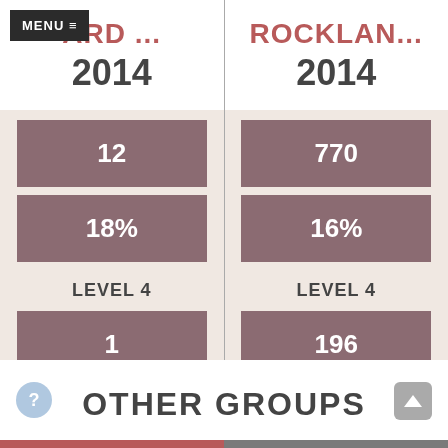MENU ≡
ARD ...
ROCKLAN...
2014
2014
| ARD ... 2014 | ROCKLAN... 2014 |
| --- | --- |
| 12 | 770 |
| 18% | 16% |
| LEVEL 4 | LEVEL 4 |
| 1 | 196 |
| 1% | 4% |
OTHER GROUPS